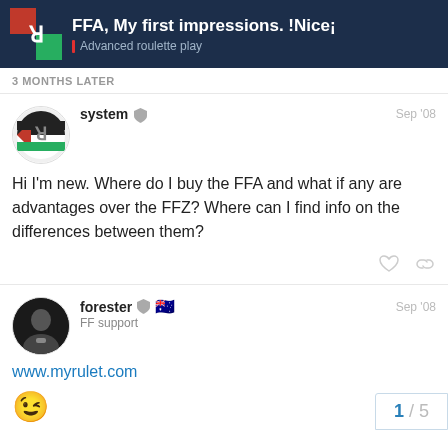FFA, My first impressions. !Nice¡ — Advanced roulette play
3 MONTHS LATER
system   Sep '08
Hi I'm new. Where do I buy the FFA and what if any are advantages over the FFZ? Where can I find info on the differences between them?
forester   FF support   Sep '08
www.myrulet.com
😉